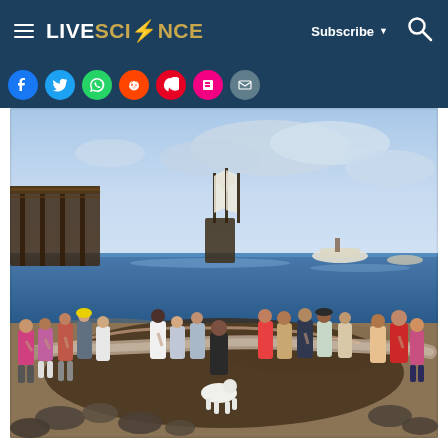LIVESCIENCE | Subscribe | Search
[Figure (other): Social media sharing icons row: Facebook, Twitter, WhatsApp, Reddit, Pinterest, Flipboard, Email]
[Figure (photo): Group of approximately 20 people standing on a beach holding a very long oarfish (Regalecus glesne) horizontally between them. A white dog stands in the foreground. A pier is visible on the left, and several sailing/motor vessels are on the ocean in the background. The sky is partly cloudy.]